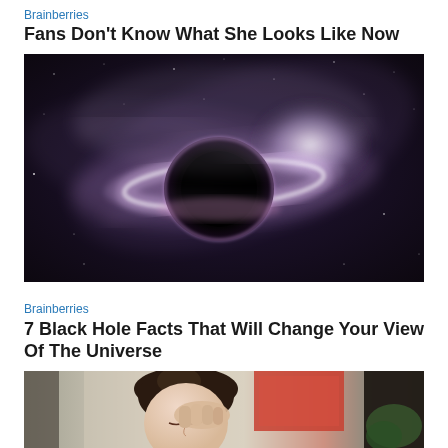Brainberries
Fans Don't Know What She Looks Like Now
[Figure (photo): Artistic rendering of a black hole with bright accretion disk against a starfield galaxy background]
Brainberries
7 Black Hole Facts That Will Change Your View Of The Universe
[Figure (photo): Young woman with dark hair up, resting her forehead on her hand, eyes closed, with room interior visible in background]